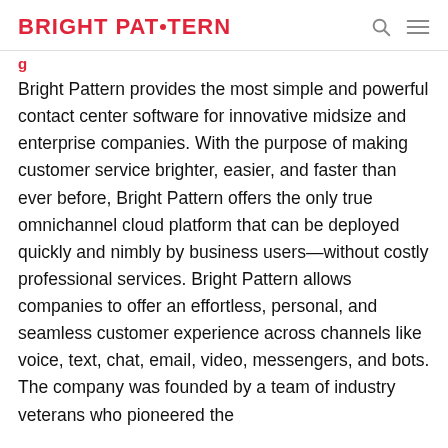BRIGHT PAT·TERN
Bright Pattern provides the most simple and powerful contact center software for innovative midsize and enterprise companies. With the purpose of making customer service brighter, easier, and faster than ever before, Bright Pattern offers the only true omnichannel cloud platform that can be deployed quickly and nimbly by business users—without costly professional services. Bright Pattern allows companies to offer an effortless, personal, and seamless customer experience across channels like voice, text, chat, email, video, messengers, and bots. The company was founded by a team of industry veterans who pioneered the